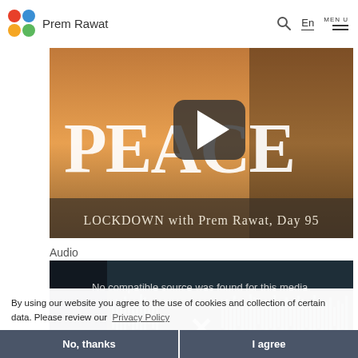Prem Rawat — MEN U  En
[Figure (screenshot): Video thumbnail with text PEACE overlaid and play button, subtitle reads LOCKDOWN with Prem Rawat, Day 95. Warm sunset background with silhouette.]
Audio
[Figure (screenshot): Audio player with dark teal background showing waveform visualization, error message 'No compatible source was found for this media.' and an X button]
By using our website you agree to the use of cookies and collection of certain data. Please review our Privacy Policy
No, thanks
I agree